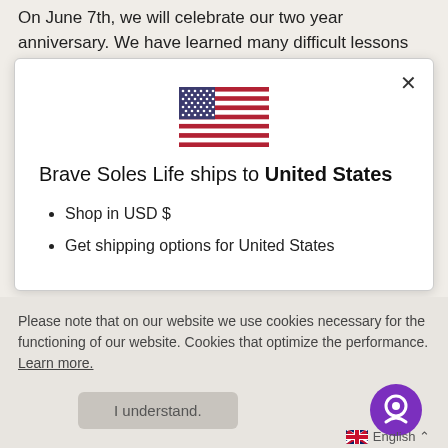On June 7th, we will celebrate our two year anniversary. We have learned many difficult lessons over these past two years
[Figure (screenshot): Modal dialog showing US flag and shipping information. Contains close button (×), US flag SVG, text 'Brave Soles Life ships to United States', bullet points: 'Shop in USD $' and 'Get shipping options for United States']
Please note that on our website we use cookies necessary for the functioning of our website. Cookies that optimize the performance. Learn more.
I understand.